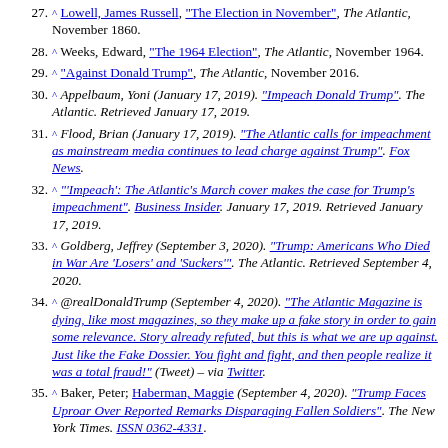27. ^ Lowell, James Russell, "The Election in November", The Atlantic, November 1860.
28. ^ Weeks, Edward, "The 1964 Election", The Atlantic, November 1964.
29. ^ "Against Donald Trump", The Atlantic, November 2016.
30. ^ Appelbaum, Yoni (January 17, 2019). "Impeach Donald Trump". The Atlantic. Retrieved January 17, 2019.
31. ^ Flood, Brian (January 17, 2019). "The Atlantic calls for impeachment as mainstream media continues to lead charge against Trump". Fox News.
32. ^ "'Impeach': The Atlantic's March cover makes the case for Trump's impeachment". Business Insider. January 17, 2019. Retrieved January 17, 2019.
33. ^ Goldberg, Jeffrey (September 3, 2020). "Trump: Americans Who Died in War Are 'Losers' and 'Suckers'". The Atlantic. Retrieved September 4, 2020.
34. ^ @realDonaldTrump (September 4, 2020). "The Atlantic Magazine is dying, like most magazines, so they make up a fake story in order to gain some relevance. Story already refuted, but this is what we are up against. Just like the Fake Dossier. You fight and fight, and then people realize it was a total fraud!" (Tweet) – via Twitter.
35. ^ Baker, Peter; Haberman, Maggie (September 4, 2020). "Trump Faces Uproar Over Reported Remarks Disparaging Fallen Soldiers". The New York Times. ISSN 0362-4331.